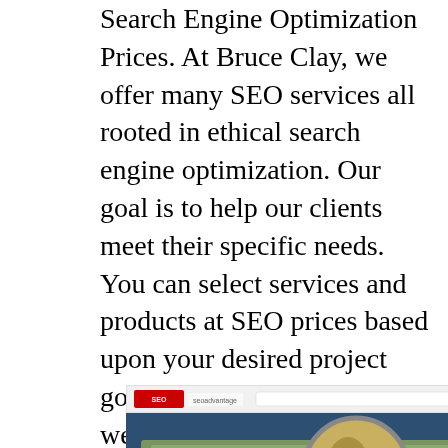Search Engine Optimization Prices. At Bruce Clay, we offer many SEO services all rooted in ethical search engine optimization. Our goal is to help our clients meet their specific needs. You can select services and products at SEO prices based upon your desired project goals and budget. In general, we offer SEO services at fees suitable for any size client, from the do-it-yourself novice with books, tools and training to large multinational corporations. Bruce Clay SEO consulting services are priced competitively with other top SEO companies. All SEO services pricing is negotiable.
[Figure (screenshot): Screenshot of a webpage with a browser chrome showing an SEO-related logo and URL bar, with a video thumbnail showing a US $100 bill with a magnifying glass and the text 'How Much Does SEO Cost?']